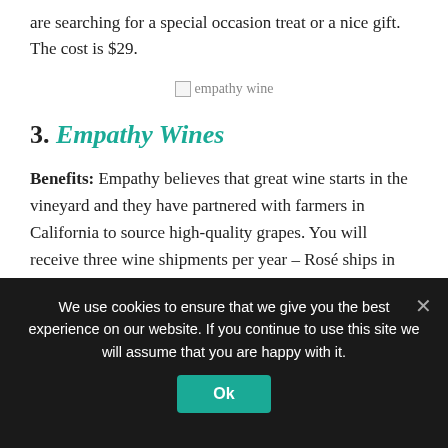are searching for a special occasion treat or a nice gift. The cost is $29.
[Figure (photo): empathy wine image placeholder]
3. Empathy Wines
Benefits: Empathy believes that great wine starts in the vineyard and they have partnered with farmers in California to source high-quality grapes. You will receive three wine shipments per year – Rosé ships in the spring, White Wine ships in early summer, and Red Wine ships in the fall.
We use cookies to ensure that we give you the best experience on our website. If you continue to use this site we will assume that you are happy with it.